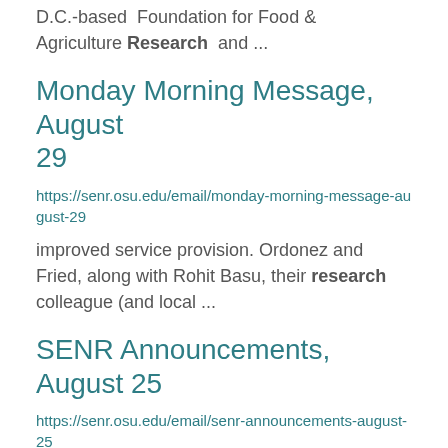D.C.-based Foundation for Food & Agriculture Research and ...
Monday Morning Message, August 29
https://senr.osu.edu/email/monday-morning-message-august-29
improved service provision. Ordonez and Fried, along with Rohit Basu, their research colleague (and local ...
SENR Announcements, August 25
https://senr.osu.edu/email/senr-announcements-august-25
happenings, and opportunities. We look forward to helping shine a light on your ...